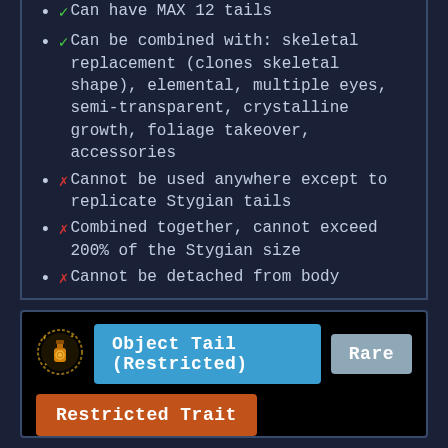✓ Can have MAX 12 tails
✓ Can be combined with: skeletal replacement (clones skeletal shape), elemental, multiple eyes, semi-transparent, crystalline growth, foliage takeover, accessories
✗ Cannot be used anywhere except to replicate Stygian tails
✗ Combined together, cannot exceed 200% of the Stygian size
✗ Cannot be detached from body
[Figure (illustration): Pixel art potion/vial icon with golden glow, orange circle design]
Object Tail (Restricted)
Rare
Restricted Trait